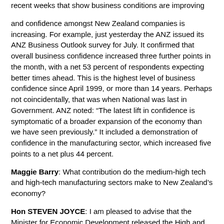recent weeks that show business conditions are improving
and confidence amongst New Zealand companies is increasing. For example, just yesterday the ANZ issued its ANZ Business Outlook survey for July. It confirmed that overall business confidence increased three further points in the month, with a net 53 percent of respondents expecting better times ahead. This is the highest level of business confidence since April 1999, or more than 14 years. Perhaps not coincidentally, that was when National was last in Government. ANZ noted: “The latest lift in confidence is symptomatic of a broader expansion of the economy than we have seen previously.” It included a demonstration of confidence in the manufacturing sector, which increased five points to a net plus 44 percent.
Maggie Barry: What contribution do the medium-high tech and high-tech manufacturing sectors make to New Zealand’s economy?
Hon STEVEN JOYCE: I am pleased to advise that the Minister for Economic Development released the High and Medium-High Technology Manufacturing Sectors Report today, which outlines the substantial and growing contribution these two sectors make to the